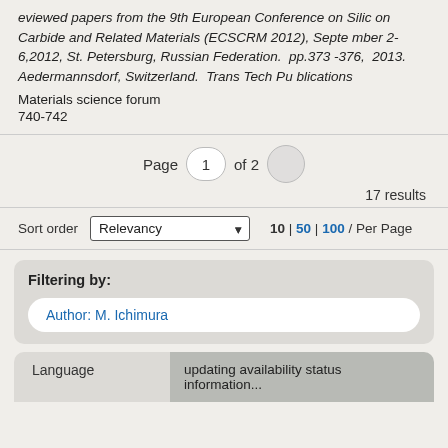eviewed papers from the 9th European Conference on Silicon Carbide and Related Materials (ECSCRM 2012), September 2-6,2012, St. Petersburg, Russian Federation.  pp.373-376,  2013.  Aedermannsdorf, Switzerland.  Trans Tech Publications
Materials science forum
740-742
Page 1 of 2
17 results
Sort order Relevancy 10 | 50 | 100 / Per Page
Filtering by:
Author: M. Ichimura
Language
updating availability status information...